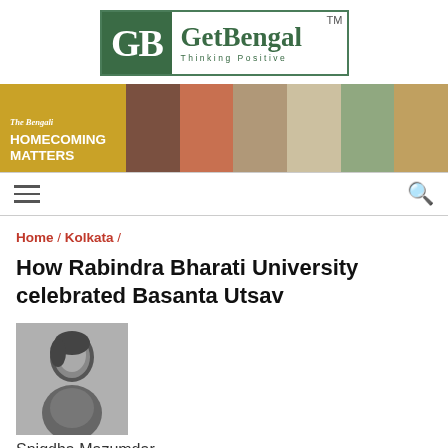[Figure (logo): GetBengal logo with green GB monogram and tagline 'Thinking Positive']
[Figure (photo): Banner advertisement for 'The Bengali' magazine with text 'HOMECOMING MATTERS' and multiple product photos on golden background]
Home / Kolkata /
How Rabindra Bharati University celebrated Basanta Utsav
[Figure (photo): Black and white portrait photo of author Snigdha Mazumdar]
Snigdha Mazumdar